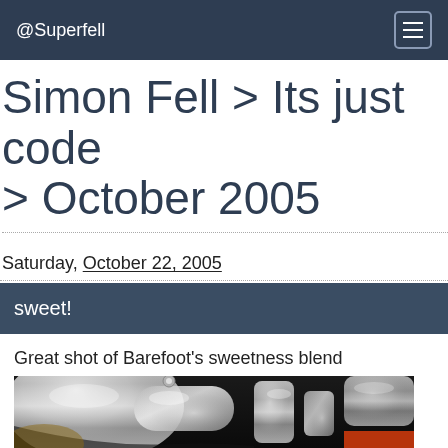@Superfell
Simon Fell > Its just code > October 2005
Saturday, October 22, 2005
sweet!
Great shot of Barefoot's sweetness blend
[Figure (photo): Close-up photo of shiny metallic saxophone keys/mechanism, showing chrome-plated keywork with some visible screws and red material in lower right corner. Dark background.]